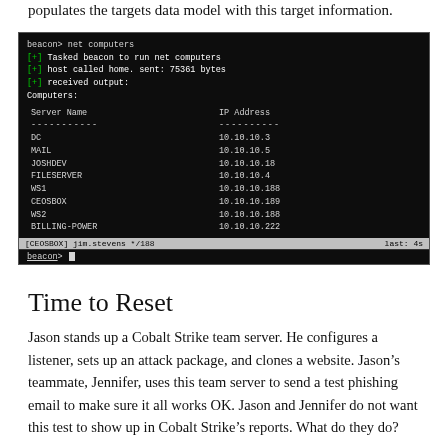populates the targets data model with this target information.
[Figure (screenshot): Terminal screenshot showing beacon> net computers command output with a list of server names and IP addresses: DC 10.10.10.3, MAIL 10.10.10.5, JOSHDEV 10.10.10.18, FILESERVER 10.10.10.4, WS1 10.10.10.188, CEOSBOX 10.10.10.189, WS2 10.10.10.188, BILLING-POWER 10.10.10.222. Status bar shows [CEOSBOX] jim.stevens */188 last: 4s]
Time to Reset
Jason stands up a Cobalt Strike team server. He configures a listener, sets up an attack package, and clones a website. Jason’s teammate, Jennifer, uses this team server to send a test phishing email to make sure it all works OK. Jason and Jennifer do not want this test to show up in Cobalt Strike’s reports. What do they do?